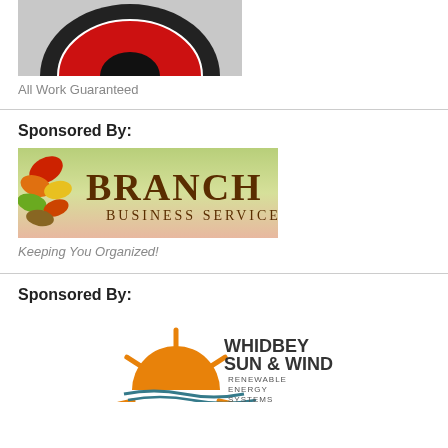[Figure (logo): Partial logo image at top of page (cropped, showing black and red circular element on grey background)]
All Work Guaranteed
Sponsored By:
[Figure (logo): Branch Business Services Inc logo with autumn leaves on green/pink gradient background]
Keeping You Organized!
Sponsored By:
[Figure (logo): Whidbey Sun & Wind Renewable Energy Systems logo with orange sun/rays and teal wave]